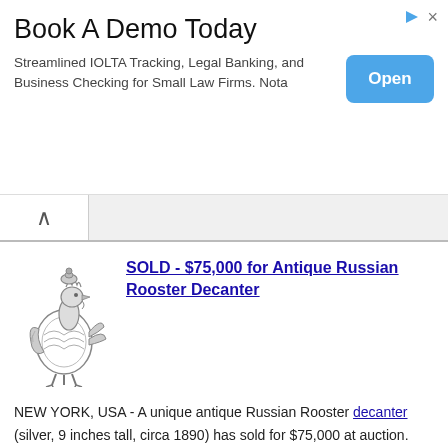[Figure (infographic): Advertisement banner: Book A Demo Today - Streamlined IOLTA Tracking, Legal Banking, and Business Checking for Small Law Firms. Nota - with blue Open button]
SOLD - $75,000 for Antique Russian Rooster Decanter
[Figure (photo): Black and white illustration/photo of an antique Russian rooster decanter, silver, decorative]
NEW YORK, USA - A unique antique Russian Rooster decanter (silver, 9 inches tall, circa 1890) has sold for $75,000 at auction. The decanter was sold by Sotheby's.
Source: Sotheby's - April 16, 2015
Related:
The World's Best Antiques